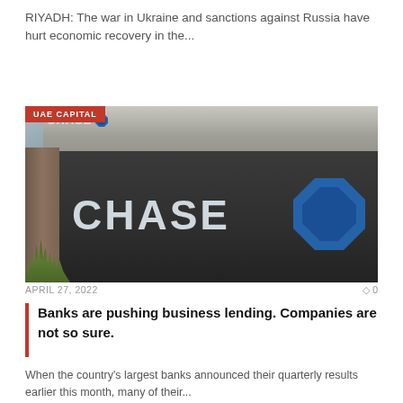RIYADH: The war in Ukraine and sanctions against Russia have hurt economic recovery in the...
[Figure (photo): Chase bank sign/monument with large CHASE lettering and octagon logo on a dark gray wall, with a smaller Chase sign on a brown wood-paneled building behind it. A red badge reading 'UAE CAPITAL' overlays the top-left corner.]
APRIL 27, 2022    0
Banks are pushing business lending. Companies are not so sure.
When the country's largest banks announced their quarterly results earlier this month, many of their...